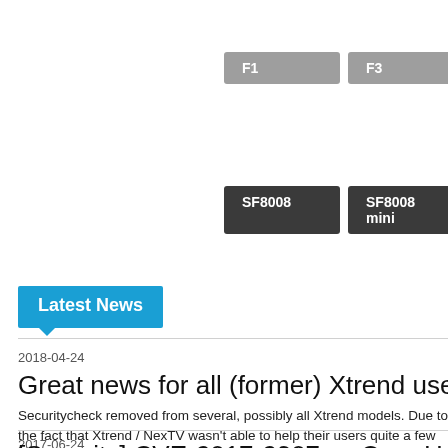[Figure (screenshot): Navigation buttons: F1 (gray), F3 (gray), F4 (gray, partially visible)]
[Figure (screenshot): Navigation buttons: SF8008 (dark), SF8008 mini (dark)]
Latest News
2018-04-24
Great news for all (former) Xtrend users. Securityc
Securitycheck removed from several, possibly all Xtrend models. Due to the fact that Xtrend / NexTV wasn't able to help their users quite a few Xtrend ST appears that this problem suddenly seems to be solved in the latest drivers.
2017-06-24
[Security] CVE-2017-2307 — OpenHybridMelb...